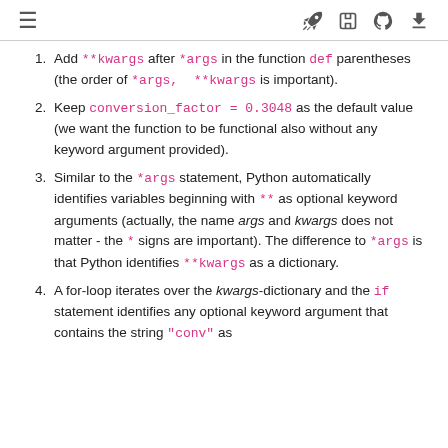≡  🚀  [ ]  ⊙  ⬇
Add **kwargs after *args in the function def parentheses (the order of *args, **kwargs is important).
Keep conversion_factor = 0.3048 as the default value (we want the function to be functional also without any keyword argument provided).
Similar to the *args statement, Python automatically identifies variables beginning with ** as optional keyword arguments (actually, the name args and kwargs does not matter - the * signs are important). The difference to *args is that Python identifies **kwargs as a dictionary.
A for-loop iterates over the kwargs-dictionary and the if statement identifies any optional keyword argument that contains the string "conv" as